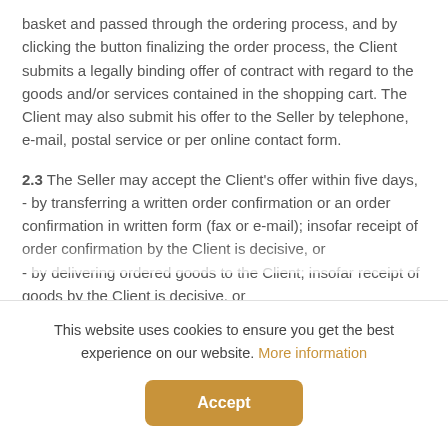basket and passed through the ordering process, and by clicking the button finalizing the order process, the Client submits a legally binding offer of contract with regard to the goods and/or services contained in the shopping cart. The Client may also submit his offer to the Seller by telephone, e-mail, postal service or per online contact form.
2.3 The Seller may accept the Client's offer within five days, - by transferring a written order confirmation or an order confirmation in written form (fax or e-mail); insofar receipt of order confirmation by the Client is decisive, or - by delivering ordered goods to the Client; insofar receipt of goods by the Client is decisive, or - by requesting the Client to confirm his order...
This website uses cookies to ensure you get the best experience on our website. More information
Accept